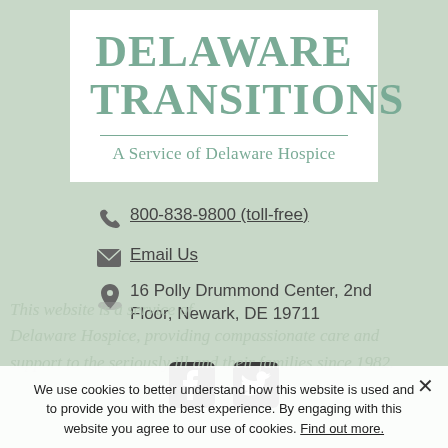[Figure (logo): Delaware Transitions logo — large serif text 'DELAWARE TRANSITIONS' with subtitle 'A Service of Delaware Hospice' on white background]
800-838-9800 (toll-free)
Email Us
16 Polly Drummond Center, 2nd Floor, Newark, DE 19711
[Figure (illustration): Facebook and Twitter social media icons]
We use cookies to better understand how this website is used and to provide you with the best experience. By engaging with this website you agree to our use of cookies. Find out more.
This website is a service of Delaware Hospice. providing compassionate care and support to the seriously ill and their families since 1982.